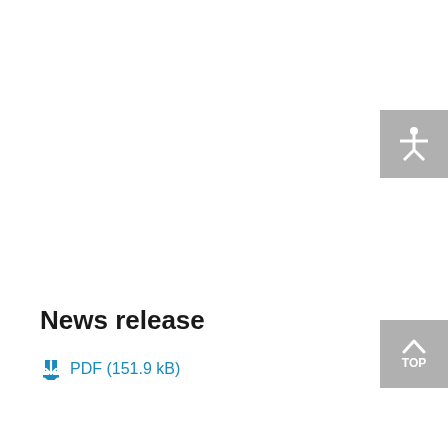[Figure (other): Accessibility button with white human figure icon on grey background, positioned top right]
News release
PDF (151.9 kB)
[Figure (other): TOP button with upward chevron arrow on grey background, positioned bottom right]